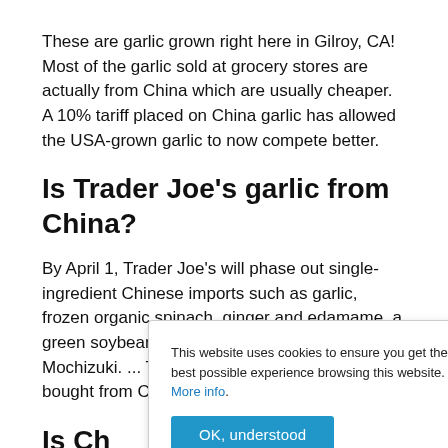These are garlic grown right here in Gilroy, CA! Most of the garlic sold at grocery stores are actually from China which are usually cheaper. A 10% tariff placed on China garlic has allowed the USA-grown garlic to now compete better.
Is Trader Joe's garlic from China?
By April 1, Trader Joe's will phase out single-ingredient Chinese imports such as garlic, frozen organic spinach, ginger and edamame, a green soybean, says spokeswoman Alison Mochizuki. ... Trader Joe's says the products it bought from China were safe.
Is Ch... fece...
It is possible that sewage is used as fertilizer, as it is in
This website uses cookies to ensure you get the best possible experience browsing this website. More info.
OK, understood